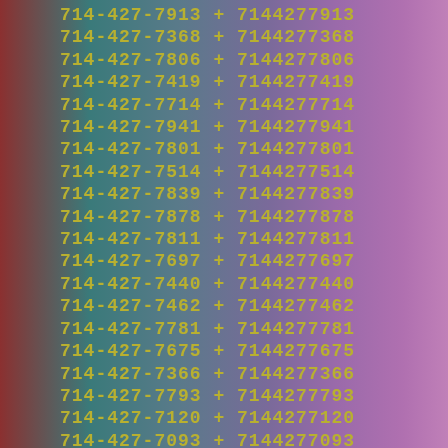714-427-7913 + 7144277913
714-427-7368 + 7144277368
714-427-7806 + 7144277806
714-427-7419 + 7144277419
714-427-7714 + 7144277714
714-427-7941 + 7144277941
714-427-7801 + 7144277801
714-427-7514 + 7144277514
714-427-7839 + 7144277839
714-427-7878 + 7144277878
714-427-7811 + 7144277811
714-427-7697 + 7144277697
714-427-7440 + 7144277440
714-427-7462 + 7144277462
714-427-7781 + 7144277781
714-427-7675 + 7144277675
714-427-7366 + 7144277366
714-427-7793 + 7144277793
714-427-7120 + 7144277120
714-427-7093 + 7144277093
714-427-7744 + 7144277744
714-427-7233 + 7144277233
714-427-7081 + 7144277081